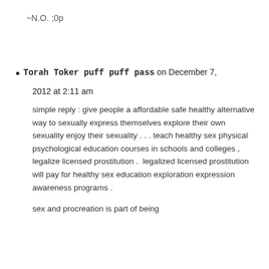~N.O. ;0p
Torah Toker puff puff pass on December 7, 2012 at 2:11 am

simple reply : give people a affordable safe healthy alternative way to sexually express themselves explore their own sexuality enjoy their sexuality . . . teach healthy sex physical psychological education courses in schools and colleges , legalize licensed prostitution .  legalized licensed prostitution will pay for healthy sex education exploration expression awareness programs .

sex and procreation is part of being